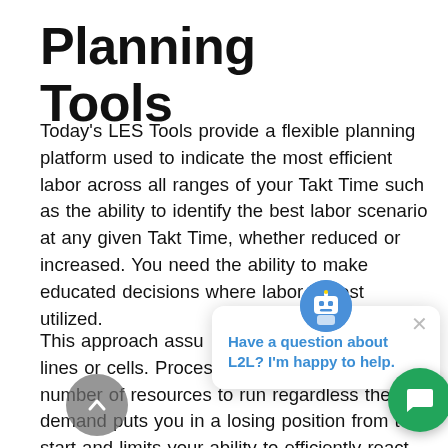Planning Tools
Today's LES Tools provide a flexible planning platform used to indicate the most efficient labor across all ranges of your Takt Time such as the ability to identify the best labor scenario at any given Takt Time, whether reduced or increased. You need the ability to make educated decisions where labor is best utilized.
This approach assu... addressed the issue... lines or cells. Processes that require a fixed number of resources to run regardless the demand puts you in a losing position from t... start and limits your ability to efficiently react
[Figure (other): Chat popup widget with robot avatar, close button, and text 'Have a question about L2L? I'm happy to help.' Also a scroll-to-top button and green chat launcher button.]